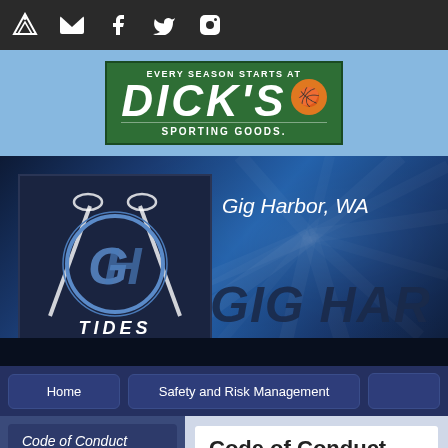[Figure (screenshot): Top navigation bar with icons for app, email, Facebook, Twitter, Instagram on dark background]
[Figure (logo): Dick's Sporting Goods advertisement banner on light blue background]
[Figure (photo): Hero banner with Gig Harbor Tides lacrosse team logo (dark navy box with GH monogram and crossed lacrosse sticks, TIDES text), location text 'Gig Harbor, WA', and large 'GIG HAR' text partially visible, blue ray burst background with grass silhouette]
Gig Harbor, WA
GIG HAR
Home
Safety and Risk Management
Code of Conduct
Fees
Code of Conduct